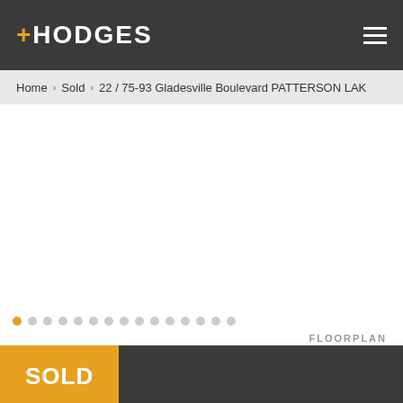+HODGES
Home > Sold > 22 / 75-93 Gladesville Boulevard PATTERSON LAK
[Figure (photo): Property image area (blank/white, carousel slideshow)]
FLOORPLAN
SOLD
22 / 75-93 Gladesville Boulevard Patterson Lakes